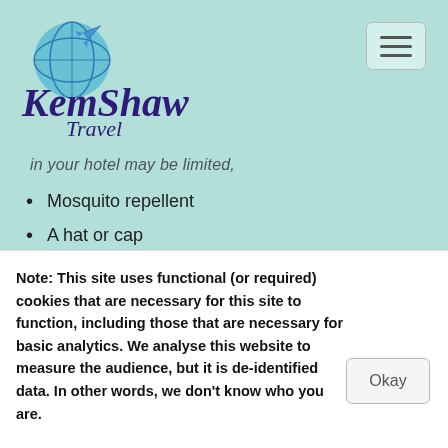[Figure (logo): KemShaw Travel logo with globe and airplane icon, purple italic text]
in your hotel may be limited,
Mosquito repellent
A hat or cap
A beach bag
TRAVEL TIPS
Pack a change of clothing in your hand luggage in case of baggage delays (and a
Note: This site uses functional (or required) cookies that are necessary for this site to function, including those that are necessary for basic analytics. We analyse this website to measure the audience, but it is de-identified data. In other words, we don't know who you are.